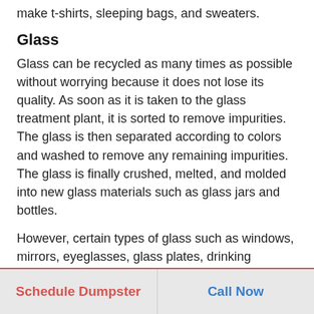make t-shirts, sleeping bags, and sweaters.
Glass
Glass can be recycled as many times as possible without worrying because it does not lose its quality. As soon as it is taken to the glass treatment plant, it is sorted to remove impurities. The glass is then separated according to colors and washed to remove any remaining impurities. The glass is finally crushed, melted, and molded into new glass materials such as glass jars and bottles.
However, certain types of glass such as windows, mirrors, eyeglasses, glass plates, drinking glasses, fluorescent light bulbs, Pyrex baking dishes, and light bulbs cannot be recycled.
Paper and Cardboard
Papers make the highest percentage of waste in the
Schedule Dumpster   Call Now